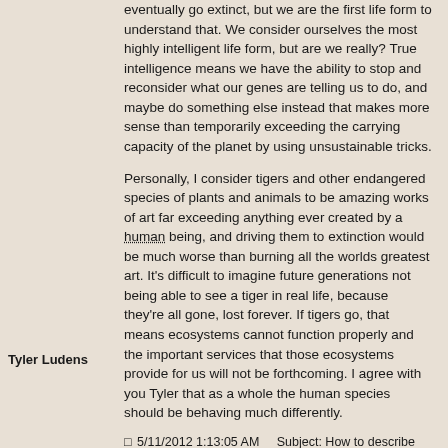eventually go extinct, but we are the first life form to understand that. We consider ourselves the most highly intelligent life form, but are we really? True intelligence means we have the ability to stop and reconsider what our genes are telling us to do, and maybe do something else instead that makes more sense than temporarily exceeding the carrying capacity of the planet by using unsustainable tricks.
Personally, I consider tigers and other endangered species of plants and animals to be amazing works of art far exceeding anything ever created by a human being, and driving them to extinction would be much worse than burning all the worlds greatest art. It's difficult to imagine future generations not being able to see a tiger in real life, because they're all gone, lost forever. If tigers go, that means ecosystems cannot function properly and the important services that those ecosystems provide for us will not be forthcoming. I agree with you Tyler that as a whole the human species should be behaving much differently.
Tyler Ludens
5/11/2012 1:13:05 AM   Subject: How to describe permaculture in a sentence or two